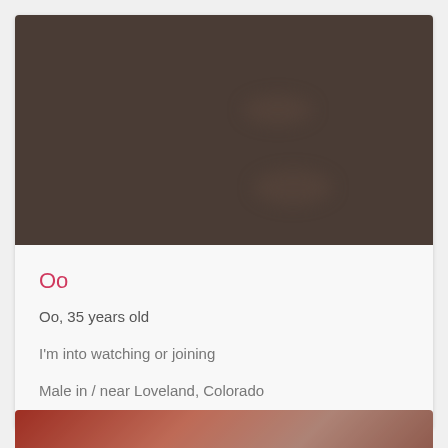[Figure (photo): Dark brownish blurred profile photo area, mostly dark brown/grey tones with two blurry dark spots visible on the right side]
Oo
Oo, 35 years old
I'm into watching or joining
Male in / near Loveland, Colorado
[Figure (photo): Partial view of a second profile card photo at the bottom of the page, showing warm reddish/skin tones, cropped]